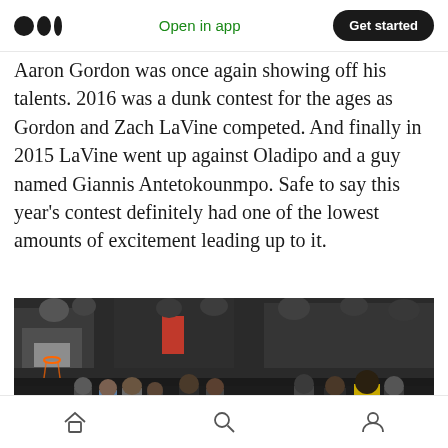Medium — Open in app | Get started
Aaron Gordon was once again showing off his talents. 2016 was a dunk contest for the ages as Gordon and Zach LaVine competed. And finally in 2015 LaVine went up against Oladipo and a guy named Giannis Antetokounmpo. Safe to say this year's contest definitely had one of the lowest amounts of excitement leading up to it.
[Figure (photo): Basketball arena scene showing players and spectators on the court during what appears to be an NBA Slam Dunk Contest. A 'Farm' sponsor sign is visible on the left side.]
Home | Search | Profile